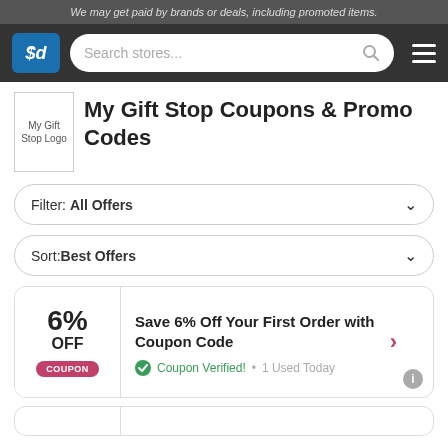We may get paid by brands or deals, including promoted items.
[Figure (logo): SlickDeals logo with $d icon in blue square and search bar]
My Gift Stop Coupons & Promo Codes
Filter: All Offers
Sort: Best Offers
6% OFF COUPON - Save 6% Off Your First Order with Coupon Code - Coupon Verified! • 1 Used Today